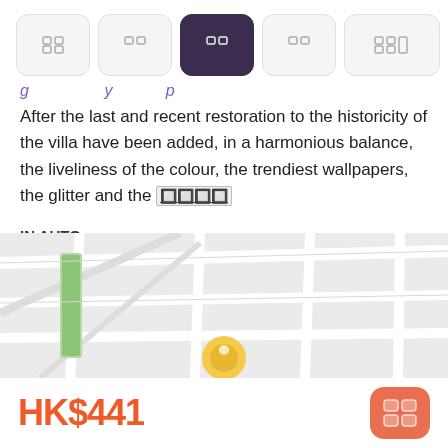[Figure (screenshot): Tab bar with 5 navigation buttons, the third one (photo/camera icon) is active/selected with dark purple background]
After the last and recent restoration to the historicity of the villa have been added, in a harmonious balance, the liveliness of the colour, the trendiest wallpapers, the glitter and the [more]
IN AUTO:
Autostrada A57 Uscita "Mirano-Dolo"
[Figure (map): Street map showing roads, a green highlighted road segment, and a yellow circular location marker pin in the center]
HK$441
[Figure (screenshot): Orange rounded button with grid/calendar icon for booking]